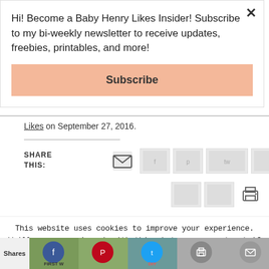Hi! Become a Baby Henry Likes Insider! Subscribe to my bi-weekly newsletter to receive updates, freebies, printables, and more!
Subscribe
Likes on September 27, 2016.
SHARE THIS:
[Figure (screenshot): Share icons row including email, social network buttons, and Reddit icon]
This website uses cookies to improve your experience. We'll assume you're ok with this, but you can opt-out if you wish.
Accept   Reject   Read More
[Figure (screenshot): Bottom social sharing bar with Facebook, Pinterest, Twitter, print, email, and bookmark icons and thumbnail images]